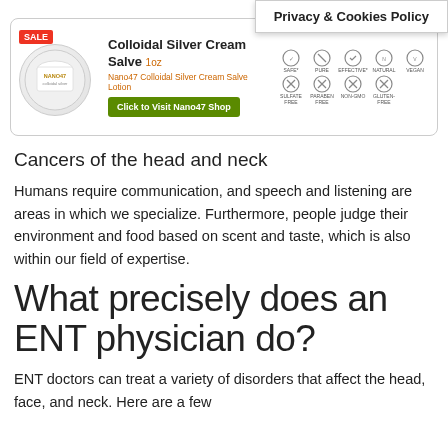[Figure (other): Privacy & Cookies Policy popup banner overlapping an advertisement for Nano47 Colloidal Silver Cream Salve product with SALE badge, product image, button, and certification icons]
Cancers of the head and neck
Humans require communication, and speech and listening are areas in which we specialize. Furthermore, people judge their environment and food based on scent and taste, which is also within our field of expertise.
What precisely does an ENT physician do?
ENT doctors can treat a variety of disorders that affect the head, face, and neck. Here are a few